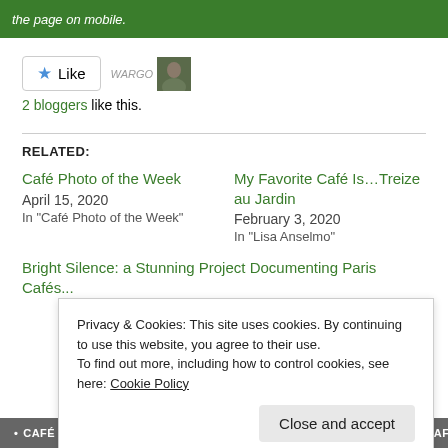the page on mobile.
[Figure (screenshot): Like button with star icon, two blogger avatars (Wargo text logo and a photo of a man)]
2 bloggers like this.
RELATED:
Café Photo of the Week
April 15, 2020
In "Café Photo of the Week"
My Favorite Café Is...Treize au Jardin
February 3, 2020
In "Lisa Anselmo"
Bright Silence: a Stunning Project Documenting Paris Cafés...
Privacy & Cookies: This site uses cookies. By continuing to use this website, you agree to their use.
To find out more, including how to control cookies, see here: Cookie Policy
Close and accept
• CAFÉ PHOTO OF THE WEEK   • CAFE PHOTOGRAPHY   • PARIS CAFÉS